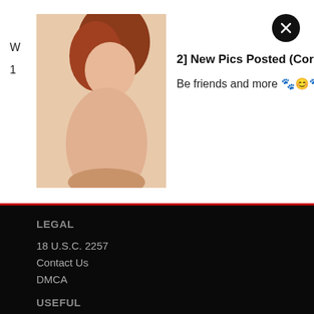[Figure (photo): Notification banner with photo of a woman and text about new pics posted]
2] New Pics Posted (Cordelia) 🍑🍑
Be friends and more 🐾😊🐾
LEGAL
18 U.S.C. 2257
Contact Us
DMCA
USEFUL
Sign up
Log in
FAQ
Contact
FRIENDS